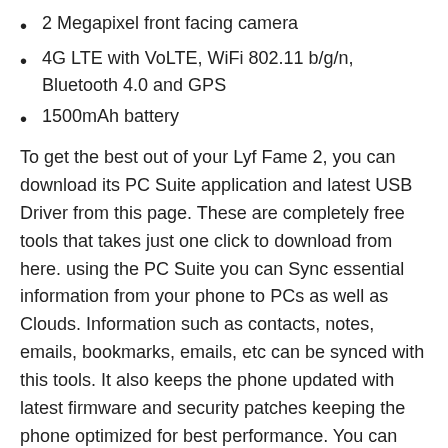2 Megapixel front facing camera
4G LTE with VoLTE, WiFi 802.11 b/g/n, Bluetooth 4.0 and GPS
1500mAh battery
To get the best out of your Lyf Fame 2, you can download its PC Suite application and latest USB Driver from this page. These are completely free tools that takes just one click to download from here. using the PC Suite you can Sync essential information from your phone to PCs as well as Clouds. Information such as contacts, notes, emails, bookmarks, emails, etc can be synced with this tools. It also keeps the phone updated with latest firmware and security patches keeping the phone optimized for best performance. You can even Backup the entire phone on computer in a single file including all installed apps, SD data, files, folders, etc. Use this file to Restore back the phone anytime without loosing a single file.